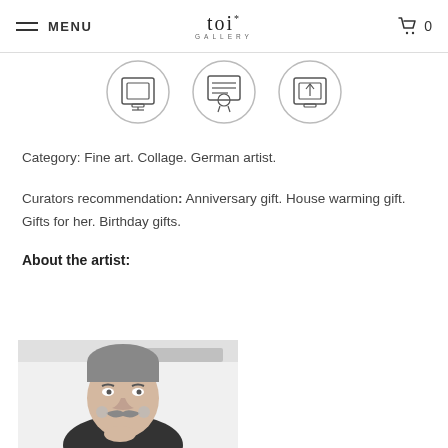MENU | toi* GALLERY | 0
[Figure (illustration): Three circular icons showing art-related symbols: a framed picture, a ribbon/certificate, and a framed picture with arrow]
Category: Fine art. Collage. German artist.
Curators recommendation: Anniversary gift. House warming gift. Gifts for her. Birthday gifts.
About the artist:
[Figure (photo): Black and white photo of a man with short hair, holding his chin, with a drawn mustache overlay on his face, wearing a dark turtleneck]